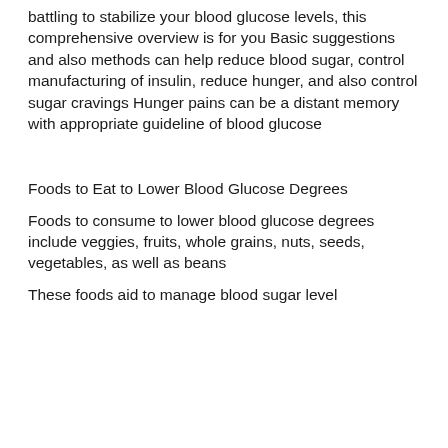battling to stabilize your blood glucose levels, this comprehensive overview is for you Basic suggestions and also methods can help reduce blood sugar, control manufacturing of insulin, reduce hunger, and also control sugar cravings Hunger pains can be a distant memory with appropriate guideline of blood glucose
Foods to Eat to Lower Blood Glucose Degrees
Foods to consume to lower blood glucose degrees include veggies, fruits, whole grains, nuts, seeds, vegetables, as well as beans
These foods aid to manage blood sugar level